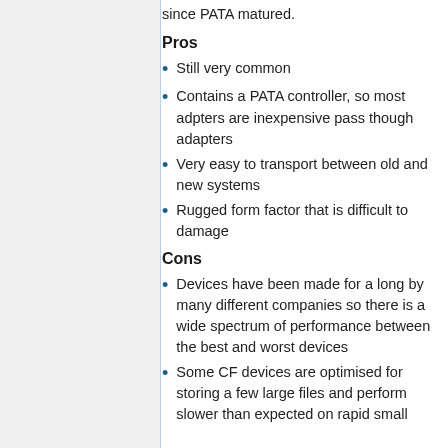since PATA matured.
Pros
Still very common
Contains a PATA controller, so most adpters are inexpensive pass though adapters
Very easy to transport between old and new systems
Rugged form factor that is difficult to damage
Cons
Devices have been made for a long by many different companies so there is a wide spectrum of performance between the best and worst devices
Some CF devices are optimised for storing a few large files and perform slower than expected on rapid small